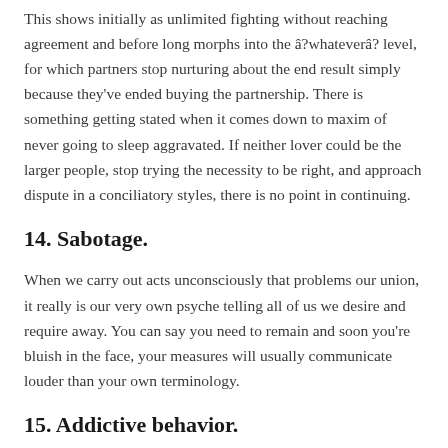This shows initially as unlimited fighting without reaching agreement and before long morphs into the â?whateverâ? level, for which partners stop nurturing about the end result simply because they've ended buying the partnership. There is something getting stated when it comes down to maxim of never going to sleep aggravated. If neither lover could be the larger people, stop trying the necessity to be right, and approach dispute in a conciliatory styles, there is no point in continuing.
14. Sabotage.
When we carry out acts unconsciously that problems our union, it really is our very own psyche telling all of us we desire and require away. You can say you need to remain and soon you're bluish in the face, your measures will usually communicate louder than your own terminology.
15. Addictive behavior.